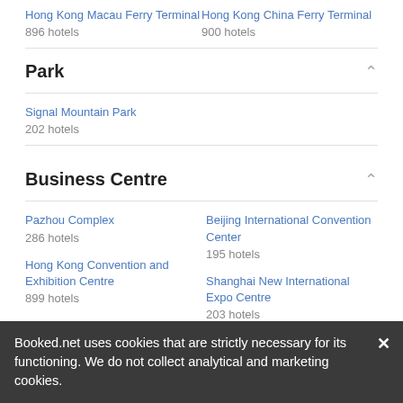Hong Kong Macau Ferry Terminal
896 hotels
Hong Kong China Ferry Terminal
900 hotels
Park
Signal Mountain Park
202 hotels
Business Centre
Pazhou Complex
286 hotels
Beijing International Convention Center
195 hotels
Hong Kong Convention and Exhibition Centre
899 hotels
Shanghai New International Expo Centre
203 hotels
China National Convention Center
143 hotels
Booked.net uses cookies that are strictly necessary for its functioning. We do not collect analytical and marketing cookies.
AMAZING SPA HOTELS IN CHINA